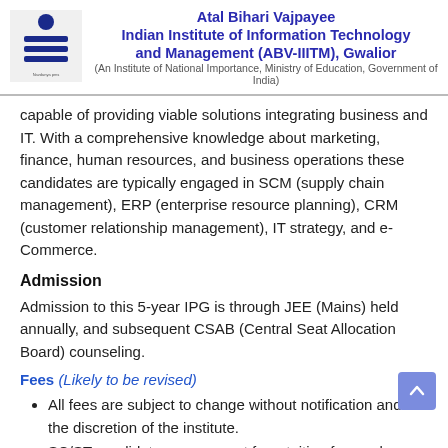Atal Bihari Vajpayee Indian Institute of Information Technology and Management (ABV-IIITM), Gwalior (An Institute of National Importance, Ministry of Education, Government of India)
capable of providing viable solutions integrating business and IT. With a comprehensive knowledge about marketing, finance, human resources, and business operations these candidates are typically engaged in SCM (supply chain management), ERP (enterprise resource planning), CRM (customer relationship management), IT strategy, and e-Commerce.
Admission
Admission to this 5-year IPG is through JEE (Mains) held annually, and subsequent CSAB (Central Seat Allocation Board) counseling.
Fees (Likely to be revised)
All fees are subject to change without notification and at the discretion of the institute.
SC/ST candidates are exempt from tuition fees only.
Being a completely residential institute hostel room charges and hostel mess fees are compulsorily payable by all students.